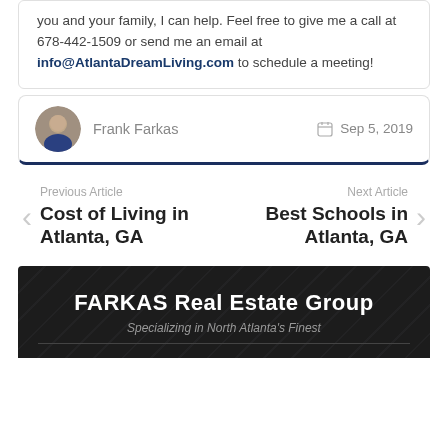you and your family, I can help. Feel free to give me a call at 678-442-1509 or send me an email at info@AtlantaDreamLiving.com to schedule a meeting!
Frank Farkas   Sep 5, 2019
Previous Article
Cost of Living in Atlanta, GA
Next Article
Best Schools in Atlanta, GA
FARKAS Real Estate Group
Specializing in North Atlanta's Finest